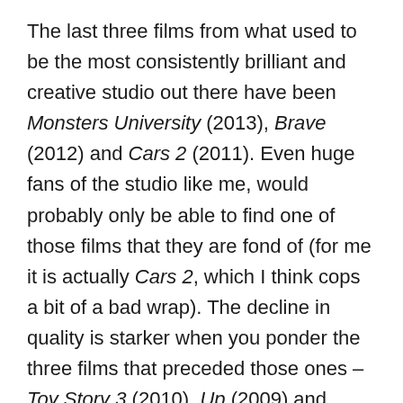The last three films from what used to be the most consistently brilliant and creative studio out there have been Monsters University (2013), Brave (2012) and Cars 2 (2011). Even huge fans of the studio like me, would probably only be able to find one of those films that they are fond of (for me it is actually Cars 2, which I think cops a bit of a bad wrap). The decline in quality is starker when you ponder the three films that preceded those ones – Toy Story 3 (2010), Up (2009) and WALL-E (2008). Those are three stone cold classics and I believe are three of the best animation films ever made.
Something in the poster for the short film Lava excited me and suggests to me that hopefully the creative tide is turning. Sure its stylings are a little derivative of a Mondo poster. But there is also a sense that they are doing